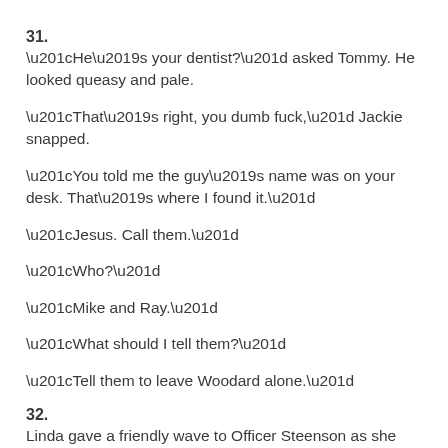31.
“He’s your dentist?” asked Tommy. He looked queasy and pale.
“That’s right, you dumb fuck,” Jackie snapped.
“You told me the guy’s name was on your desk. That’s where I found it.”
“Jesus. Call them.”
“Who?”
“Mike and Ray.”
“What should I tell them?”
“Tell them to leave Woodard alone.”
32.
Linda gave a friendly wave to Officer Steenson as she drove